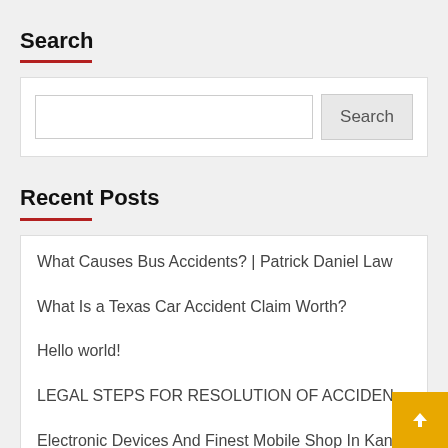Search
[Figure (other): Search input box with a Search button]
Recent Posts
What Causes Bus Accidents? | Patrick Daniel Law
What Is a Texas Car Accident Claim Worth?
Hello world!
LEGAL STEPS FOR RESOLUTION OF ACCIDENT CASES
Electronic Devices And Finest Mobile Shop In Kanne